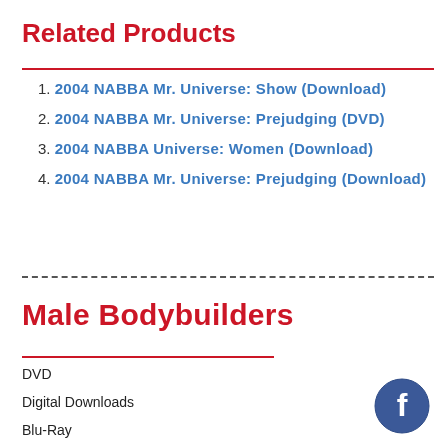Related Products
2004 NABBA Mr. Universe: Show (Download)
2004 NABBA Mr. Universe: Prejudging (DVD)
2004 NABBA Universe: Women (Download)
2004 NABBA Mr. Universe: Prejudging (Download)
Male Bodybuilders
DVD
Digital Downloads
Blu-Ray
[Figure (logo): Facebook logo icon — circular dark blue badge with white 'f']